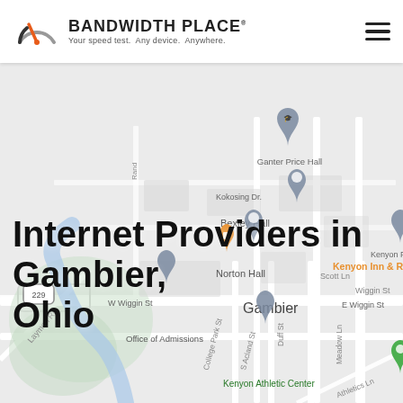[Figure (map): Google Maps view of Gambier, Ohio showing streets including W Wiggin St, E Wiggin St, Kokosing Dr, Scott Ln, College Park St, S Acland St, Duff St, Meadow Ln, Athletics Ln, Laymon Rd. Landmarks include Ganter Price Hall, Bexley Hall, Norton Hall, Kenyon Inn & Restaurant, Kenyon Farm, Wiggin Street Elementary School, Office of Admissions, Kenyon Athletic Center. Route 229 marker visible.]
BANDWIDTH PLACE — Your speed test. Any device. Anywhere.
Internet Providers in Gambier, Ohio